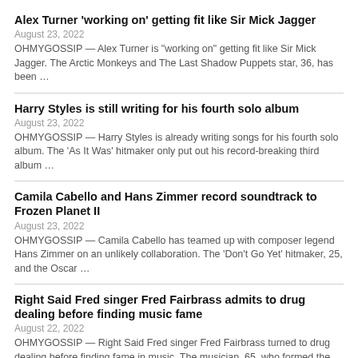Alex Turner ‘working on’ getting fit like Sir Mick Jagger
August 23, 2022
OHMYGOSSIP — Alex Turner is “working on” getting fit like Sir Mick Jagger. The Arctic Monkeys and The Last Shadow Puppets star, 36, has been …
Harry Styles is still writing for his fourth solo album
August 23, 2022
OHMYGOSSIP — Harry Styles is already writing songs for his fourth solo album. The ‘As It Was’ hitmaker only put out his record-breaking third album …
Camila Cabello and Hans Zimmer record soundtrack to Frozen Planet II
August 23, 2022
OHMYGOSSIP — Camila Cabello has teamed up with composer legend Hans Zimmer on an unlikely collaboration. The ‘Don’t Go Yet’ hitmaker, 25, and the Oscar …
Right Said Fred singer Fred Fairbrass admits to drug dealing before finding music fame
August 22, 2022
OHMYGOSSIP — Right Said Fred singer Fred Fairbrass turned to drug dealing before finding fame in music. The musician, 65, who formed the band with …